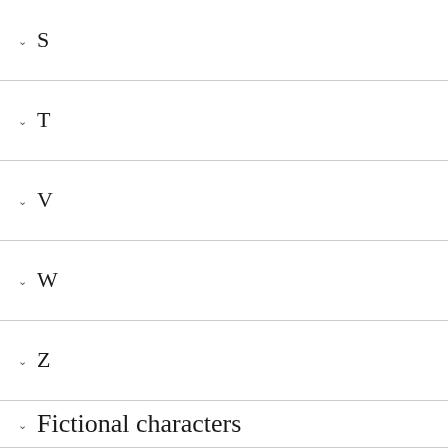S
T
V
W
Z
Fictional characters